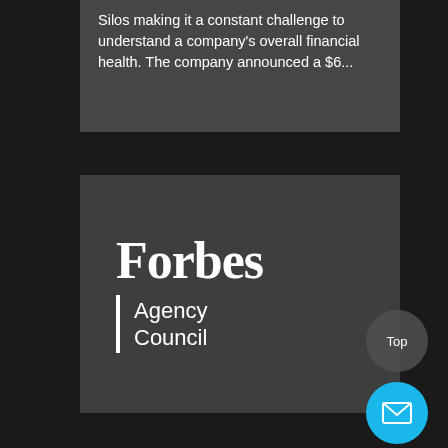Silos making it a constant challenge to understand a company's overall financial health. The company announced a $6...
[Figure (logo): Forbes Agency Council logo — large bold serif 'Forbes' text with a vertical white bar divider and 'Agency Council' in sans-serif to the right, white on dark grey background]